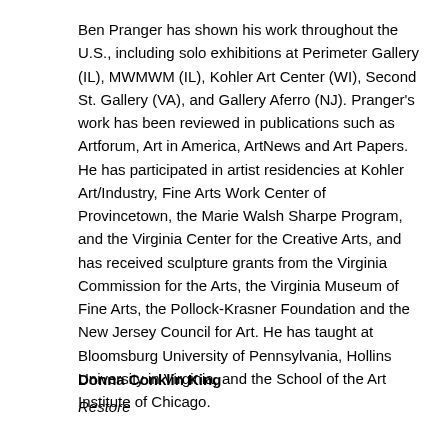Ben Pranger has shown his work throughout the U.S., including solo exhibitions at Perimeter Gallery (IL), MWMWM (IL), Kohler Art Center (WI), Second St. Gallery (VA), and Gallery Aferro (NJ). Pranger's work has been reviewed in publications such as Artforum, Art in America, ArtNews and Art Papers. He has participated in artist residencies at Kohler Art/Industry, Fine Arts Work Center of Provincetown, the Marie Walsh Sharpe Program, and the Virginia Center for the Creative Arts, and has received sculpture grants from the Virginia Commission for the Arts, the Virginia Museum of Fine Arts, the Pollock-Krasner Foundation and the New Jersey Council for Art. He has taught at Bloomsburg University of Pennsylvania, Hollins University in Virginia, and the School of the Art Institute of Chicago.
Donna Conklin King
Restore